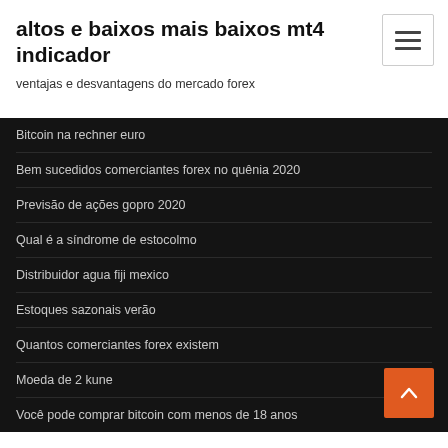altos e baixos mais baixos mt4 indicador
ventajas e desvantagens do mercado forex
Bitcoin na rechner euro
Bem sucedidos comerciantes forex no quênia 2020
Previsão de ações gopro 2020
Qual é a síndrome de estocolmo
Distribuidor agua fiji mexico
Estoques sazonais verão
Quantos comerciantes forex existem
Moeda de 2 kune
Você pode comprar bitcoin com menos de 18 anos